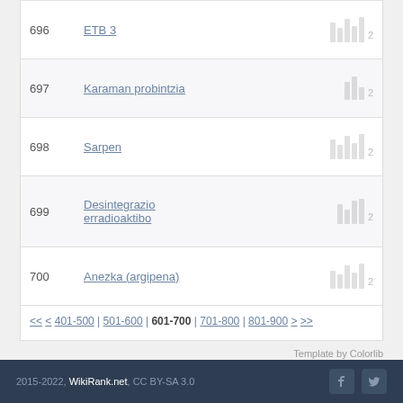| Rank | Article | Score |
| --- | --- | --- |
| 696 | ETB 3 | 2 |
| 697 | Karaman probintzia | 2 |
| 698 | Sarpen | 2 |
| 699 | Desintegrazio erradioaktibo | 2 |
| 700 | Anezka (argipena) | 2 |
<< < 401-500 | 501-600 | 601-700 | 701-800 | 801-900 > >>
Template by Colorlib
2015-2022, WikiRank.net, CC BY-SA 3.0